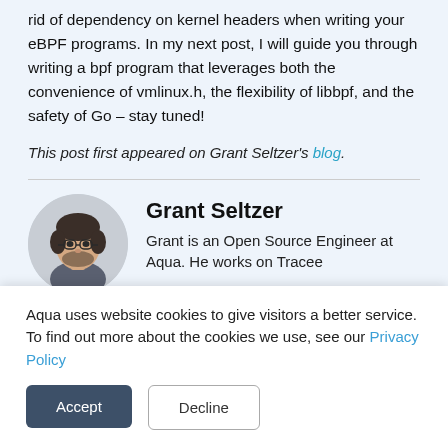rid of dependency on kernel headers when writing your eBPF programs. In my next post, I will guide you through writing a bpf program that leverages both the convenience of vmlinux.h, the flexibility of libbpf, and the safety of Go – stay tuned!
This post first appeared on Grant Seltzer's blog.
[Figure (photo): Circular portrait photo of Grant Seltzer, a man with glasses and dark hair.]
Grant Seltzer
Grant is an Open Source Engineer at Aqua. He works on Tracee
Aqua uses website cookies to give visitors a better service. To find out more about the cookies we use, see our Privacy Policy
Accept
Decline